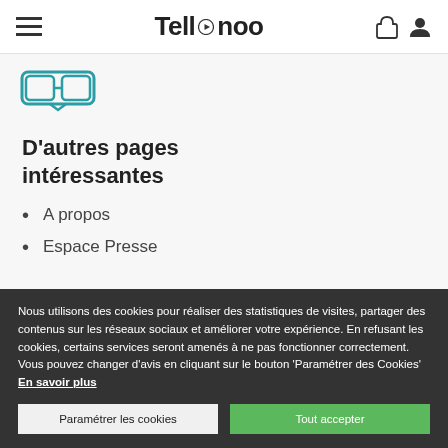Tellnoo
[Figure (illustration): VR/3D glasses icon in teal/cyan outline style]
D'autres pages intéressantes
A propos
Espace Presse
Nous utilisons des cookies pour réaliser des statistiques de visites, partager des contenus sur les réseaux sociaux et améliorer votre expérience. En refusant les cookies, certains services seront amenés à ne pas fonctionner correctement. Vous pouvez changer d'avis en cliquant sur le bouton 'Paramétrer des Cookies' En savoir plus
Paramétrer les cookies | Tout accepter